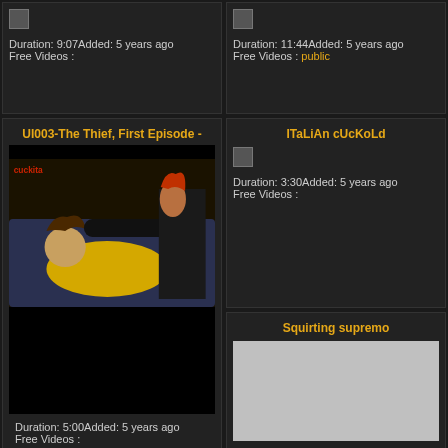Duration: 9:07Added: 5 years ago
Free Videos :
Duration: 11:44Added: 5 years ago
Free Videos : public
ITaLiAn cUcKoLd
Duration: 3:30Added: 5 years ago
Free Videos :
UI003-The Thief, First Episode -
[Figure (photo): Video thumbnail showing a man in yellow shirt lying on sofa while a woman with red hair leans over him]
Duration: 5:00Added: 5 years ago
Free Videos :
Squirting supremo
[Figure (photo): Light gray placeholder thumbnail]
Concetta Licata classico style
[Figure (photo): Light gray placeholder thumbnail]